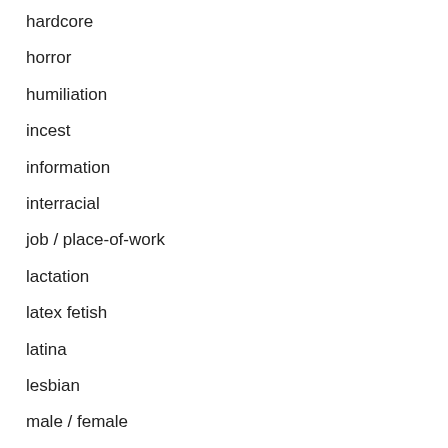hardcore
horror
humiliation
incest
information
interracial
job / place-of-work
lactation
latex fetish
latina
lesbian
male / female
male / female teens